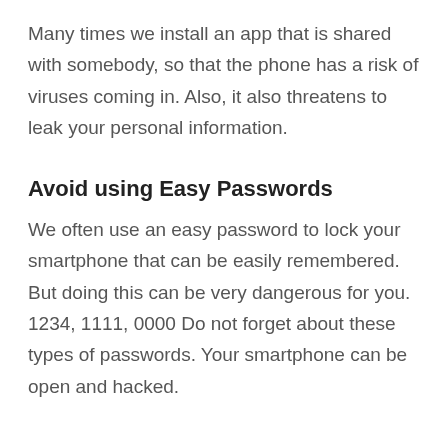Many times we install an app that is shared with somebody, so that the phone has a risk of viruses coming in. Also, it also threatens to leak your personal information.
Avoid using Easy Passwords
We often use an easy password to lock your smartphone that can be easily remembered. But doing this can be very dangerous for you. 1234, 1111, 0000 Do not forget about these types of passwords. Your smartphone can be open and hacked.